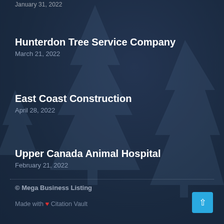January 31, 2022
Hunterdon Tree Service Company
March 21, 2022
East Coast Construction
April 28, 2022
Upper Canada Animal Hospital
February 21, 2022
© Mega Business Listing
Made with ❤ Citation Vault